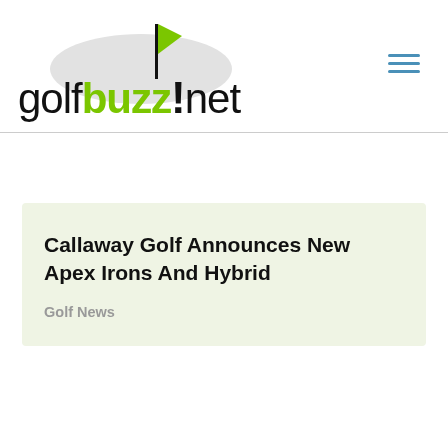[Figure (logo): golfbuzz!net logo with green flag on top, text on light gray ellipse background]
Callaway Golf Announces New Apex Irons And Hybrid
Golf News